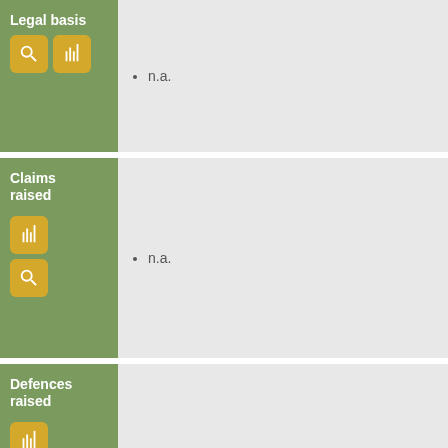| Label | Content |
| --- | --- |
| Legal basis | n.a. |
| Claims raised | n.a. |
| Defences raised | n.a. |
Adjudicators
| Type | Chairperson |  |
| --- | --- | --- |